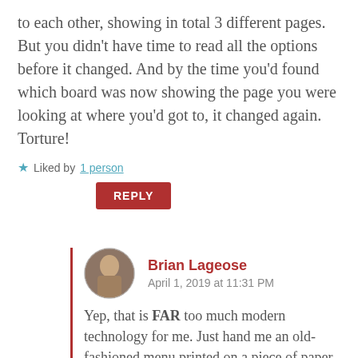to each other, showing in total 3 different pages. But you didn't have time to read all the options before it changed. And by the time you'd found which board was now showing the page you were looking at where you'd got to, it changed again. Torture!
★ Liked by 1 person
REPLY
Brian Lageose
April 1, 2019 at 11:31 PM
Yep, that is FAR too much modern technology for me. Just hand me an old-fashioned menu printed on a piece of paper and nobody will get hurt...
I do find it surprising, though, that you have